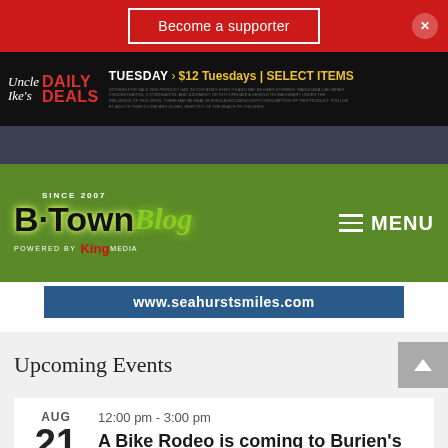Become a supporter
[Figure (screenshot): Uncle Ike's Daily Deals advertisement banner: TUESDAY > $12 Tuesdays | SELECT ITEMS]
[Figure (logo): B·Town Blog logo - Since 2007, Powered by King Media, with MENU hamburger navigation on green background]
www.seahurstsmiles.com
Upcoming Events
AUG 21 | 12:00 pm - 3:00 pm | A Bike Rodeo is coming to Burien's Annex Park on Sunday, Aug. 21
AUG 21 | 1:00 pm - 4:00 pm | Celebrate North...